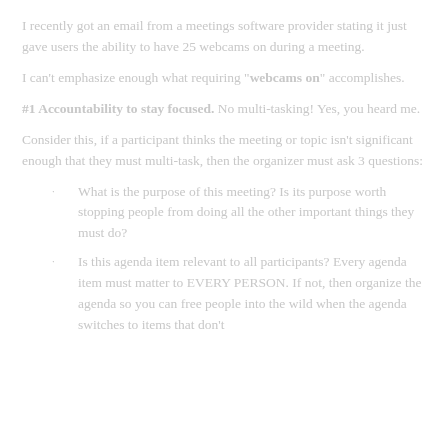I recently got an email from a meetings software provider stating it just gave users the ability to have 25 webcams on during a meeting.
I can't emphasize enough what requiring "webcams on" accomplishes.
#1 Accountability to stay focused. No multi-tasking! Yes, you heard me.
Consider this, if a participant thinks the meeting or topic isn't significant enough that they must multi-task, then the organizer must ask 3 questions:
What is the purpose of this meeting? Is its purpose worth stopping people from doing all the other important things they must do?
Is this agenda item relevant to all participants? Every agenda item must matter to EVERY PERSON. If not, then organize the agenda so you can free people into the wild when the agenda switches to items that don't